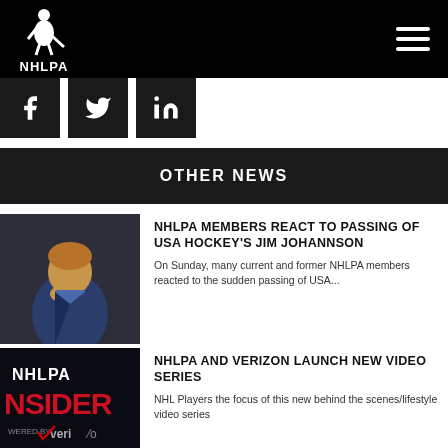NHLPA
[Figure (screenshot): Social media icons: Facebook, Twitter, LinkedIn on black squares]
OTHER NEWS
[Figure (photo): Man in blue jacket with hand on chin, thoughtful expression]
NHLPA MEMBERS REACT TO PASSING OF USA HOCKEY'S JIM JOHANNSON
On Sunday, many current and former NHLPA members reacted to the sudden passing of USA...
[Figure (screenshot): NHLPA Insider logo with Verizon branding on dark background]
NHLPA AND VERIZON LAUNCH NEW VIDEO SERIES
NHL Players the focus of this new behind the scenes/lifestyle video series